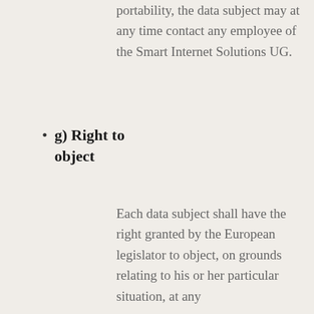portability, the data subject may at any time contact any employee of the Smart Internet Solutions UG.
g) Right to object
Each data subject shall have the right granted by the European legislator to object, on grounds relating to his or her particular situation, at any